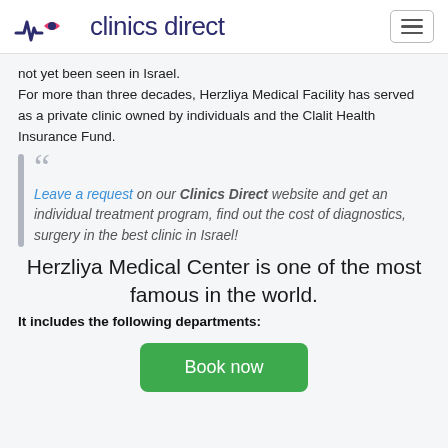clinics direct
not yet been seen in Israel.
For more than three decades, Herzliya Medical Facility has served as a private clinic owned by individuals and the Clalit Health Insurance Fund.
Leave a request on our Clinics Direct website and get an individual treatment program, find out the cost of diagnostics, surgery in the best clinic in Israel!
Herzliya Medical Center is one of the most famous in the world.
It includes the following departments:
Book now